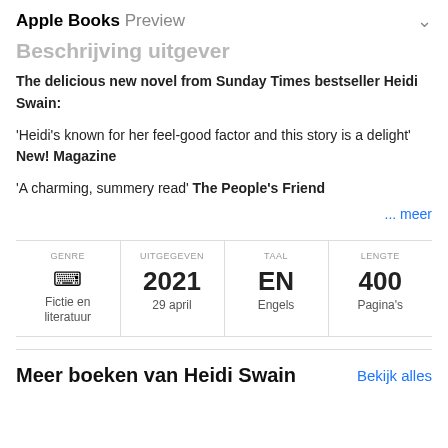Apple Books Preview
Beschrijving uitgever
The delicious new novel from Sunday Times bestseller Heidi Swain:

'Heidi's known for her feel-good factor and this story is a delight' New! Magazine

'A charming, summery read' The People's Friend
... meer
| GENRE | UITGEGEVEN | TAAL | LENGTE |
| --- | --- | --- | --- |
| Fictie en literatuur | 2021
29 april | EN
Engels | 400
Pagina's |
Meer boeken van Heidi Swain
Bekijk alles